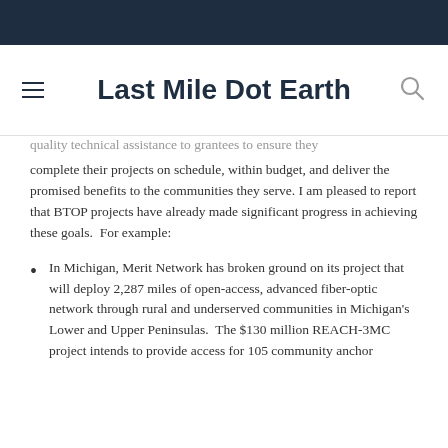Last Mile Dot Earth
quality technical assistance to grantees to ensure they complete their projects on schedule, within budget, and deliver the promised benefits to the communities they serve. I am pleased to report that BTOP projects have already made significant progress in achieving these goals. For example:
In Michigan, Merit Network has broken ground on its project that will deploy 2,287 miles of open-access, advanced fiber-optic network through rural and underserved communities in Michigan's Lower and Upper Peninsulas. The $130 million REACH-3MC project intends to provide access for 105 community anchor